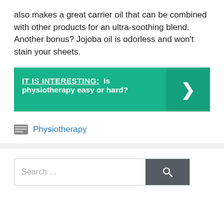also makes a great carrier oil that can be combined with other products for an ultra-soothing blend. Another bonus? Jojoba oil is odorless and won't stain your sheets.
[Figure (infographic): Green callout box with text 'IT IS INTERESTING: Is physiotherapy easy or hard?' and a right-pointing chevron arrow on the right side.]
Physiotherapy
Search ...